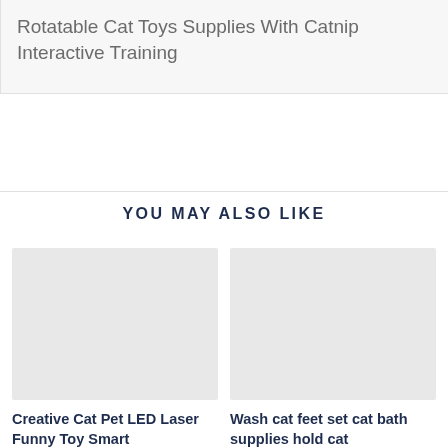Rotatable Cat Toys Supplies With Catnip Interactive Training
YOU MAY ALSO LIKE
[Figure (photo): Product image placeholder for Creative Cat Pet LED Laser Funny Toy Smart]
Creative Cat Pet LED Laser Funny Toy Smart
[Figure (photo): Product image placeholder for Wash cat feet set cat bath supplies hold cat]
Wash cat feet set cat bath supplies hold cat